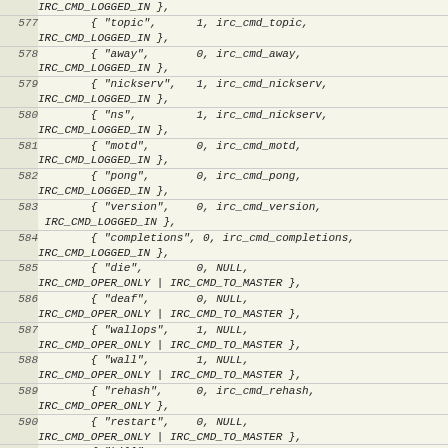Code listing lines 577-594 showing IRC command table entries in C source code